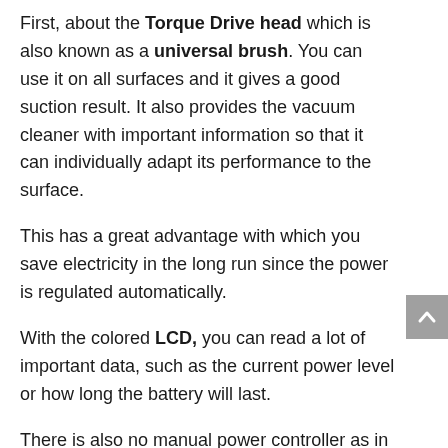First, about the Torque Drive head which is also known as a universal brush. You can use it on all surfaces and it gives a good suction result. It also provides the vacuum cleaner with important information so that it can individually adapt its performance to the surface.
This has a great advantage with which you save electricity in the long run since the power is regulated automatically.
With the colored LCD, you can read a lot of important data, such as the current power level or how long the battery will last.
There is also no manual power controller as in the previous models. Instead, you can adjust the power via the LCD at the push of a button.